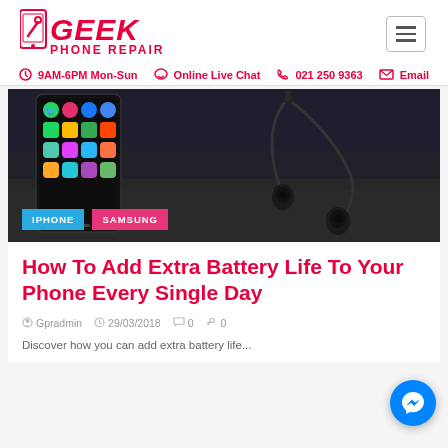[Figure (logo): Geek Phone Repair logo with phone icon, red bold italic text]
9AM-6PM Mon-Sun   Online Live Chat   021 250 9363   Email
[Figure (photo): Smartphone with app icons and earphones on dark background, with IPHONE and SAMSUNG category tags]
How To Add Extra Battery Life To Your Phone Every Single Day
Gpradmin   29/03/2018   0   0
Discover how you can add extra battery life...